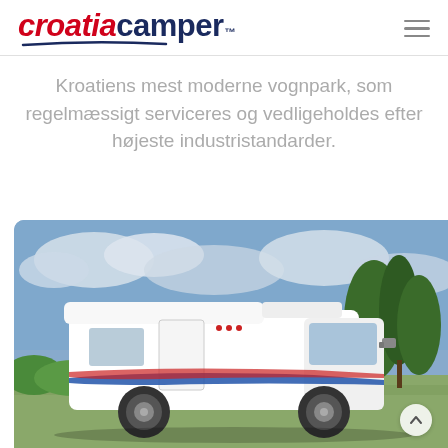Croatia Camper™
Kroatiens mest moderne vognpark, som regelmæssigt serviceres og vedligeholdes efter højeste industristandarder.
[Figure (photo): White motorhome/camper van parked outdoors with green trees and cloudy blue sky in background. The vehicle has blue and red decorative stripes on its side.]